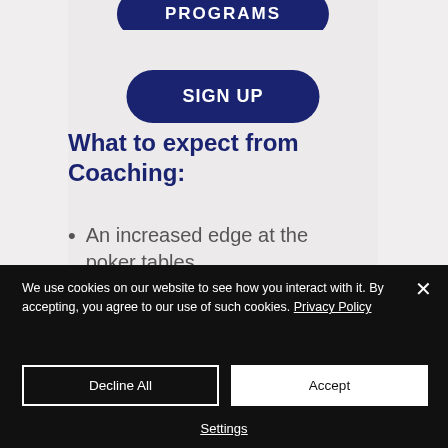[Figure (screenshot): Partially visible PROGRAMS button (dark navy, rounded rectangle) at top of page]
[Figure (screenshot): SIGN UP button (dark navy, rounded rectangle)]
What to expect from Coaching:
An increased edge at the poker tables
We use cookies on our website to see how you interact with it. By accepting, you agree to our use of such cookies. Privacy Policy
Decline All
Accept
Settings